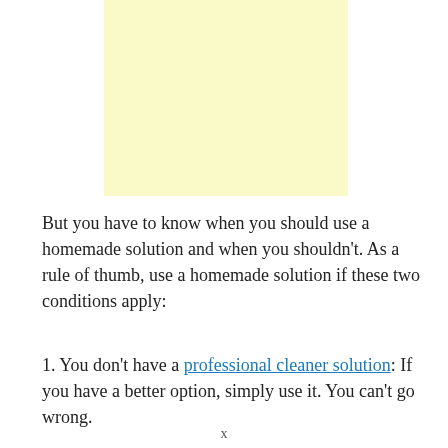[Figure (other): Light yellow/cream colored rectangular advertisement block placeholder]
But you have to know when you should use a homemade solution and when you shouldn't. As a rule of thumb, use a homemade solution if these two conditions apply:
1. You don't have a professional cleaner solution: If you have a better option, simply use it. You can't go wrong.
x